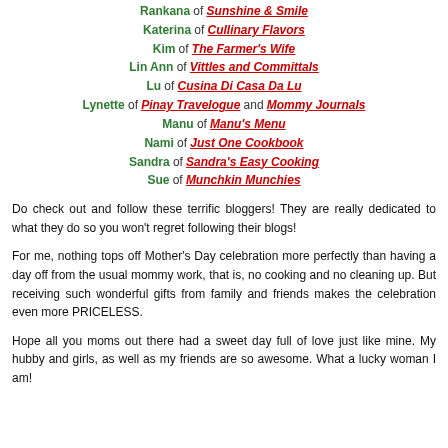Rankana of Sunshine & Smile
Katerina of Cullinary Flavors
Kim of The Farmer's Wife
Lin Ann of Vittles and Committals
Lu of Cusina Di Casa Da Lu
Lynette of Pinay Travelogue and Mommy Journals
Manu of Manu's Menu
Nami of Just One Cookbook
Sandra of Sandra's Easy Cooking
Sue of Munchkin Munchies
Do check out and follow these terrific bloggers! They are really dedicated to what they do so you won't regret following their blogs!
For me, nothing tops off Mother's Day celebration more perfectly than having a day off from the usual mommy work, that is, no cooking and no cleaning up.  But receiving such wonderful gifts from family and friends makes the celebration even more PRICELESS.
Hope all you moms out there had a sweet day full of love just like mine. My hubby and girls, as well as my friends are so awesome. What a lucky woman I am!